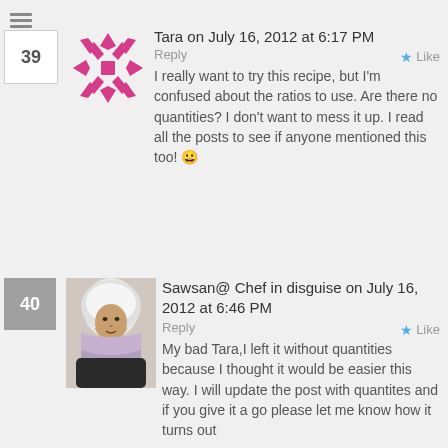Tara on July 16, 2012 at 6:17 PM
Reply
I really want to try this recipe, but I’m confused about the ratios to use. Are there no quantities? I don’t want to mess it up. I read all the posts to see if anyone mentioned this too! 😀
Sawsan@ Chef in disguise on July 16, 2012 at 6:46 PM
Reply
My bad Tara,I left it without quantities because I thought it would be easier this way. I will update the post with quantites and if you give it a go please let me know how it turns out